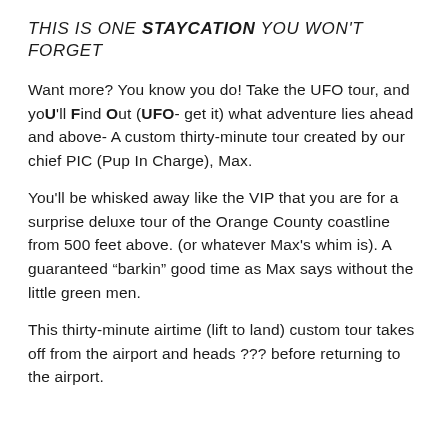THIS IS ONE STAYCATION YOU WON'T FORGET
Want more? You know you do! Take the UFO tour, and yoU'll Find Out (UFO- get it) what adventure lies ahead and above- A custom thirty-minute tour created by our chief PIC (Pup In Charge), Max.
You'll be whisked away like the VIP that you are for a surprise deluxe tour of the Orange County coastline from 500 feet above. (or whatever Max's whim is). A guaranteed “barkin” good time as Max says without the little green men.
This thirty-minute airtime (lift to land) custom tour takes off from the airport and heads ??? before returning to the airport.